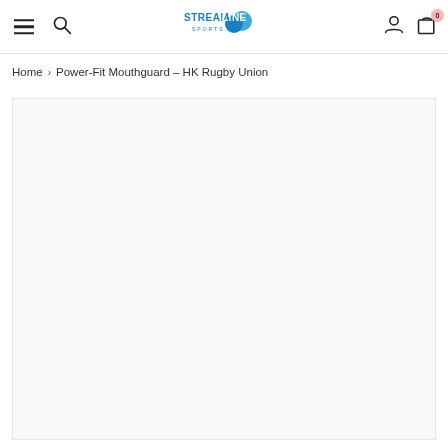Streamline Sports navigation bar with menu, search, logo, account and cart icons
Home > Power-Fit Mouthguard - HK Rugby Union
[Figure (photo): Product image placeholder area - large white/light gray empty box for Power-Fit Mouthguard HK Rugby Union product photo]